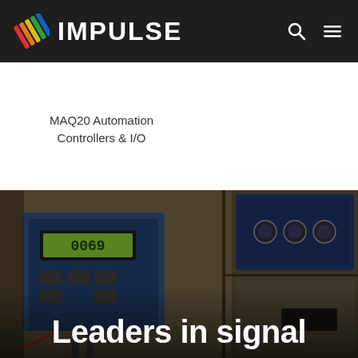IMPULSE
MAQ20 Automation Controllers & I/O
[Figure (photo): Industrial control panel wall with a blue electronic display unit showing a numeric readout (0069) mounted on the left, and a larger blue panel with circular buttons/indicators on the upper right, all set against beige/grey metal enclosure panels in a dimly lit industrial environment.]
Leaders in signal